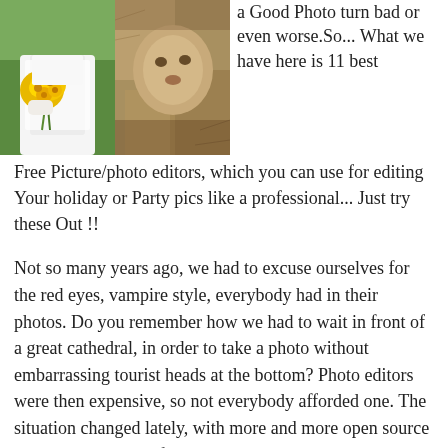[Figure (photo): Two photos side by side: left shows a bride in white dress holding yellow sunflowers bouquet; right shows a lion or animal close-up in earthy brown tones]
a Good Photo turn bad or even worse.So... What we have here is 11 best Free Picture/photo editors, which you can use for editing Your holiday or Party pics like a professional... Just try these Out !!
Not so many years ago, we had to excuse ourselves for the red eyes, vampire style, everybody had in their photos. Do you remember how we had to wait in front of a great cathedral, in order to take a photo without embarrassing tourist heads at the bottom? Photo editors were then expensive, so not everybody afforded one. The situation changed lately, with more and more open source programs and other freeware things made available online. I'm presenting you a few choices of free photo